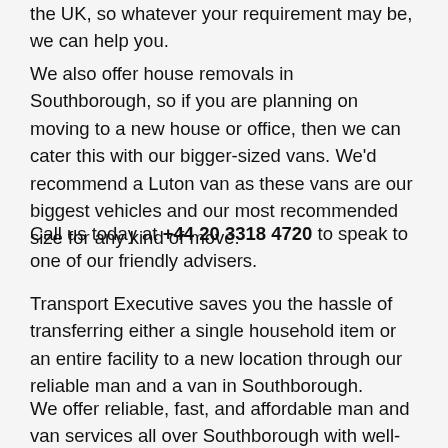the UK, so whatever your requirement may be, we can help you.
We also offer house removals in Southborough, so if you are planning on moving to a new house or office, then we can cater this with our bigger-sized vans. We'd recommend a Luton van as these vans are our biggest vehicles and our most recommended size for any kind of move.
Call us today at +44 20 3318 4720 to speak to one of our friendly advisers.
Transport Executive saves you the hassle of transferring either a single household item or an entire facility to a new location through our reliable man and a van in Southborough.
We offer reliable, fast, and affordable man and van services all over Southborough with well-trained drivers and